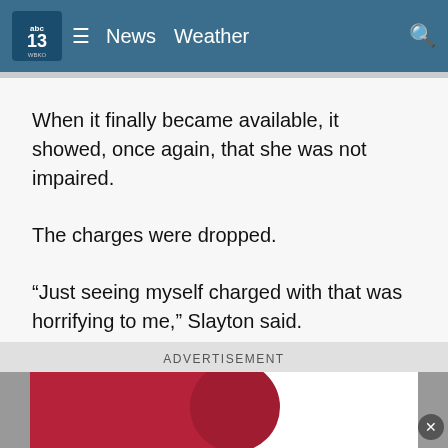abc13 WBKO | News  Weather
When it finally became available, it showed, once again, that she was not impaired.
The charges were dropped.
“Just seeing myself charged with that was horrifying to me,” Slayton said.
But the question lingered: How could someone, completely sober, fail a field sobriety test?
[Figure (other): Advertisement banner with red and dark red shapes on white background]